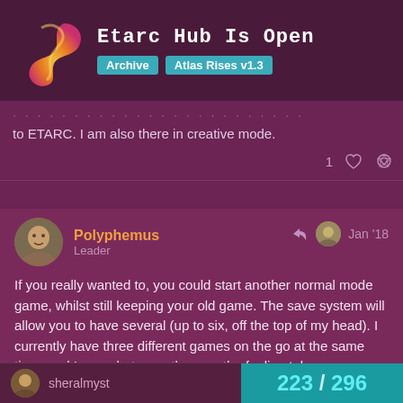Etarc Hub Is Open — Archive, Atlas Rises v1.3
to ETARC. I am also there in creative mode.
Polyphemus
Leader
Jan '18
If you really wanted to, you could start another normal mode game, whilst still keeping your old game. The save system will allow you to have several (up to six, off the top of my head). I currently have three different games on the go at the same time, and I swap between them as the feeling tales me.
sheralmyst
223 / 296